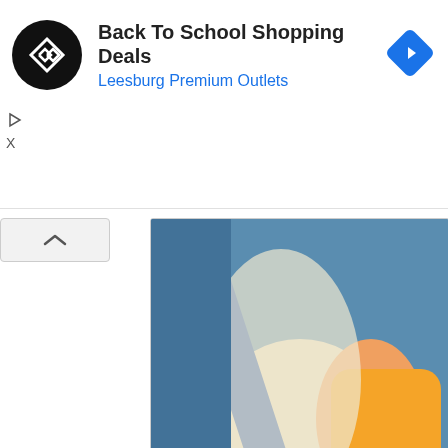[Figure (screenshot): Advertisement banner for 'Back To School Shopping Deals' at Leesburg Premium Outlets, with a circular black logo with double-arrow symbol and a blue diamond arrow icon on the right. Play and X controls visible below.]
[Figure (photo): A child sitting in a car seat with a blue seat belt visible, wearing an orange shirt, holding a blue-capped water bottle.]
Major promotions that will be coming up
1. An array of Chinese New Year Gift sets from Bran Bird's Nest, Kinohimitsu Bird's Nest and more, which season to be given to family and frien
2. During our Beauty Fairs, we have deals up to 50% o